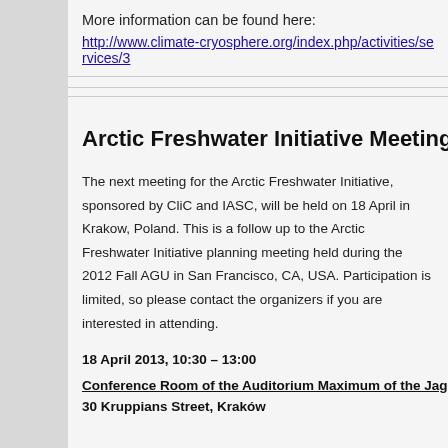More information can be found here:
http://www.climate-cryosphere.org/index.php/activities/services/3
Arctic Freshwater Initiative Meeting
The next meeting for the Arctic Freshwater Initiative, sponsored by CliC and IASC, will be held on 18 April in Krakow, Poland. This is a follow up to the Arctic Freshwater Initiative planning meeting held during the 2012 Fall AGU in San Francisco, CA, USA. Participation is limited, so please contact the organizers if you are interested in attending.
18 April 2013, 10:30 – 13:00
Conference Room of the Auditorium Maximum of the Jagiell
30 Kruppians Street, Kraków